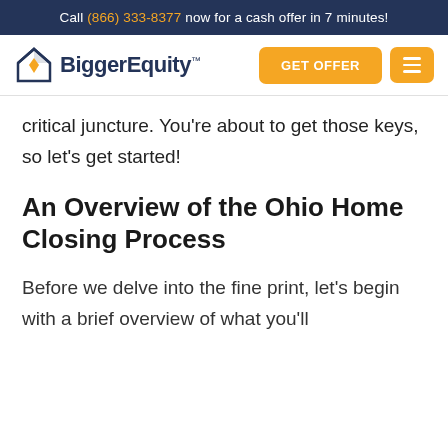Call (866) 333-8377 now for a cash offer in 7 minutes!
[Figure (logo): BiggerEquity logo with house/diamond icon in navy and orange, and text 'BiggerEquity' in navy with TM mark]
critical juncture. You're about to get those keys, so let's get started!
An Overview of the Ohio Home Closing Process
Before we delve into the fine print, let's begin with a brief overview of what you'll